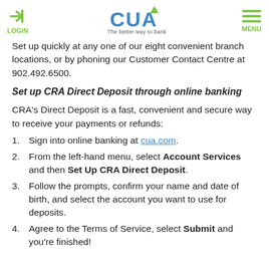LOGIN | CUA The better way to bank | MENU
Set up quickly at any one of our eight convenient branch locations, or by phoning our Customer Contact Centre at 902.492.6500.
Set up CRA Direct Deposit through online banking
CRA's Direct Deposit is a fast, convenient and secure way to receive your payments or refunds:
Sign into online banking at cua.com.
From the left-hand menu, select Account Services and then Set Up CRA Direct Deposit.
Follow the prompts, confirm your name and date of birth, and select the account you want to use for deposits.
Agree to the Terms of Service, select Submit and you're finished!